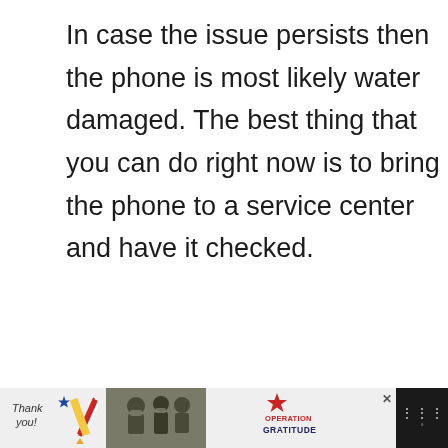In case the issue persists then the phone is most likely water damaged. The best thing that you can do right now is to bring the phone to a service center and have it checked.
[Figure (other): Advertisement banner with #FlattenTheCurve text and an image of hands being washed under a faucet, with a close button (x) in the top right corner. Labeled ADVERTISEMENT above.]
[Figure (other): Bottom advertisement bar showing 'Thank you!' handwritten text with a pencil graphic, soldiers image, Operation Gratitude logo with star, close button (x), and a weather app icon on dark background.]